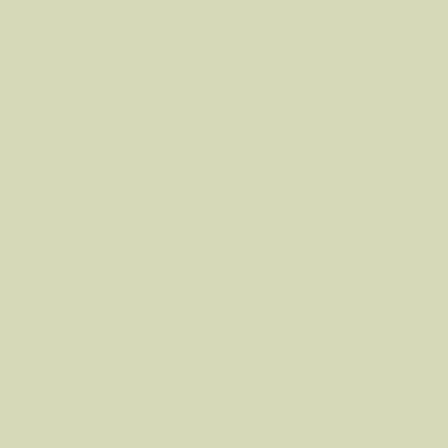After I install some filters, I'll give it a good s
[Figure (photo): A red Toyota car body panel (door/fender area with Toyota logo visible) next to a metal enclosure or panel with gray and black hoses/cables running from it. The metal box appears to be some kind of equipment mounted beside the vehicle. The background shows a dark garage environment.]